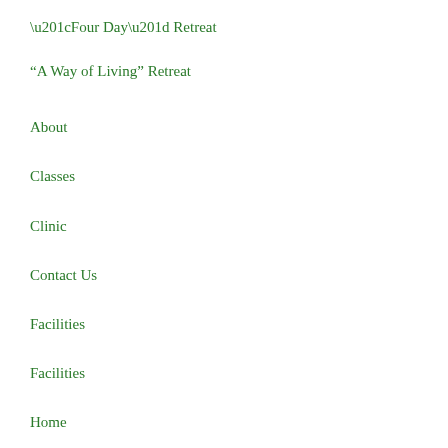“Four Day” Retreat
“A Way of Living” Retreat
About
Classes
Clinic
Contact Us
Facilities
Facilities
Home
Legal Information